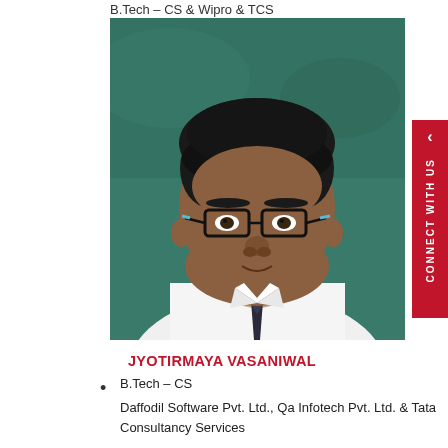B.Tech – CS & Wipro & TCS
[Figure (photo): Portrait photo of Jyotirmaya Vasaniwal, a young man wearing glasses, white shirt and dark tie, seated in front of a green chalkboard background.]
JYOTIRMAYA VASANIWAL
B.Tech – CS
Daffodil Software Pvt. Ltd., Qa Infotech Pvt. Ltd. & Tata Consultancy Services